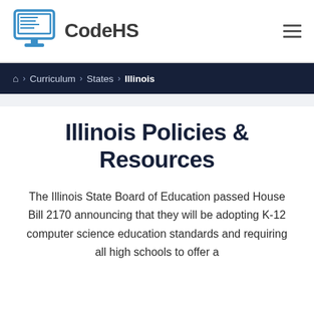[Figure (logo): CodeHS logo with computer/monitor icon and 'CodeHS' wordmark text]
Home > Curriculum > States > Illinois
Illinois Policies & Resources
The Illinois State Board of Education passed House Bill 2170 announcing that they will be adopting K-12 computer science education standards and requiring all high schools to offer a